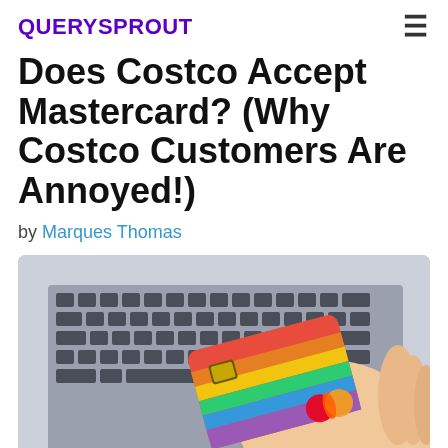QUERYSPROUT
Does Costco Accept Mastercard? (Why Costco Customers Are Annoyed!)
by Marques Thomas
[Figure (photo): A hand holding a rainbow-colored Mastercard credit card in front of a laptop keyboard]